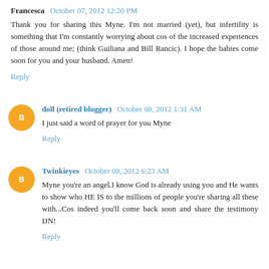Francesca  October 07, 2012 12:20 PM
Thank you for sharing this Myne. I'm not married (yet), but infertility is something that I'm constantly worrying about cos of the increased experiences of those around me; (think Guiliana and Bill Rancic). I hope the babies come soon for you and your husband. Amen!
Reply
doll (retired blogger)  October 08, 2012 1:31 AM
I just said a word of prayer for you Myne
Reply
Twinkieyes  October 08, 2012 6:23 AM
Myne you're an angel.I know God is already using you and He wants to show who HE IS to the millions of people you're sharing all these with...Cos indeed you'll come back soon and share the testimony IJN!
Reply